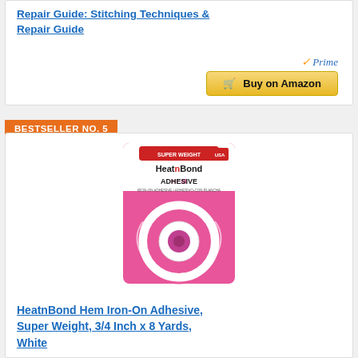Repair Guide: Stitching Techniques & Repair Guide
[Figure (other): Amazon Prime badge and Buy on Amazon button]
BESTSELLER NO. 5
[Figure (photo): HeatnBond Hem Adhesive Super Weight product photo - white roll of hem tape in pink packaging]
HeatnBond Hem Iron-On Adhesive, Super Weight, 3/4 Inch x 8 Yards, White